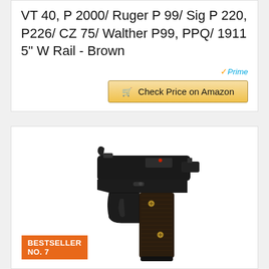VT 40, P 2000/ Ruger P 99/ Sig P 220, P226/ CZ 75/ Walther P99, PPQ/ 1911 5" W Rail - Brown
[Figure (logo): Amazon Prime logo with blue checkmark and orange/yellow 'Check Price on Amazon' button with cart icon]
BESTSELLER NO. 7
[Figure (photo): Black pistol with wood grips and gold screws - Cool Hand Wood Grips for Beretta product photo]
Cool Hand Wood Grips For Beretta 92/96 Full Size, 92 Fs, M9, 92a1, 92